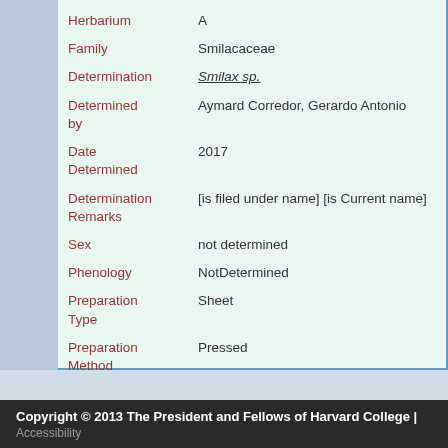| Field | Value |
| --- | --- |
| Herbarium | A |
| Family | Smilacaceae |
| Determination | Smilax sp. |
| Determined by | Aymard Corredor, Gerardo Antonio |
| Date Determined | 2017 |
| Determination Remarks | [is filed under name] [is Current name] |
| Sex | not determined |
| Phenology | NotDetermined |
| Preparation Type | Sheet |
| Preparation Method | Pressed |
Copyright © 2013 The President and Fellows of Harvard College | Accessibility